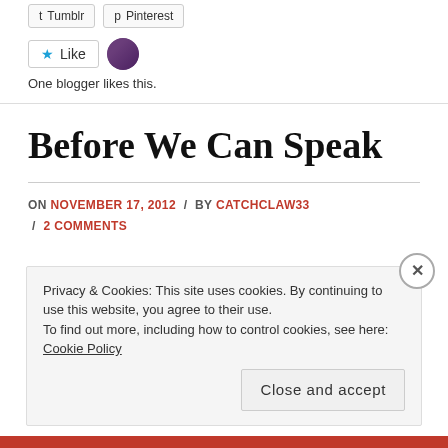[Figure (other): Social share buttons for Tumblr and Pinterest at top of page]
[Figure (other): Like button with blue star and user avatar thumbnail; text: One blogger likes this.]
One blogger likes this.
Before We Can Speak
ON NOVEMBER 17, 2012 / BY CATCHCLAW33 / 2 COMMENTS
Privacy & Cookies: This site uses cookies. By continuing to use this website, you agree to their use.
To find out more, including how to control cookies, see here: Cookie Policy
Close and accept